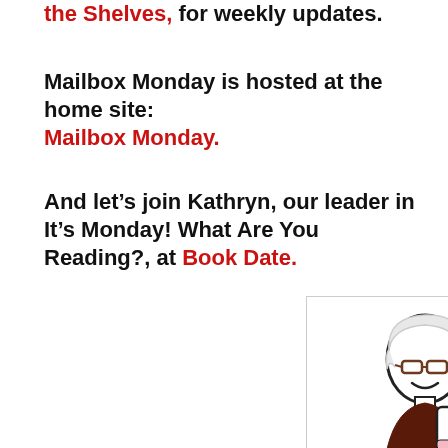the Shelves, for weekly updates.
Mailbox Monday is hosted at the home site: Mailbox Monday.
And let's join Kathryn, our leader in It's Monday! What Are You Reading?, at Book Date.
[Figure (illustration): Cartoon illustration of a woman with white/blonde hair and glasses holding a mug with a heart on it, with a heart-shaped steam rising from the mug, on a white background with a light border.]